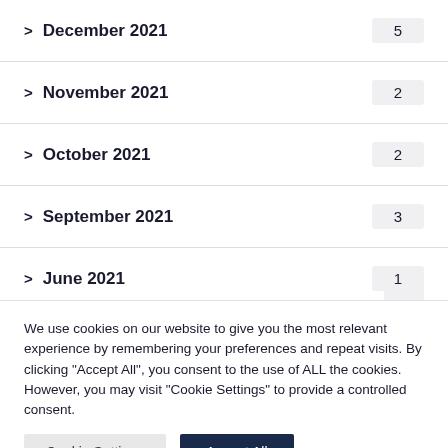> December 2021  5
> November 2021  2
> October 2021  2
> September 2021  3
> June 2021  1
We use cookies on our website to give you the most relevant experience by remembering your preferences and repeat visits. By clicking "Accept All", you consent to the use of ALL the cookies. However, you may visit "Cookie Settings" to provide a controlled consent.